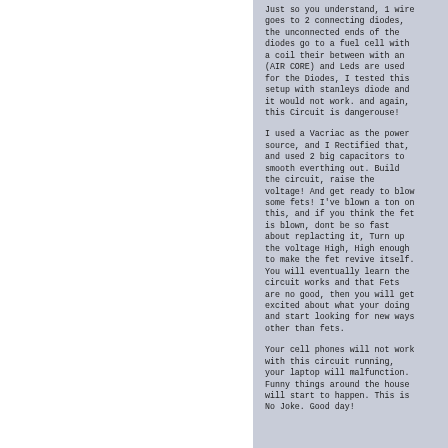Just so you understand, 1 wire goes to 2 connecting diodes, the unconnected ends of the diodes go to a fuel cell with a coil their between with an (AIR CORE) and Leds are used for the Diodes, I tested this setup with stanleys diode and it would not work. and again, this Circuit is dangerouse!
I used a Vacriac as the power source, and I Rectified that, and used 2 big capacitors to smooth everthing out. Build the circuit, raise the voltage! And get ready to blow some fets! I've blown a ton on this, and if you think the fet is blown, dont be so fast about replacting it, Turn up the voltage High, High enough to make the fet revive itself. You will eventually learn the circuit works and that Fets are no good, then you will get excited about what your doing and start looking for new ways other than fets.
Your cell phones will not work with this circuit running, your laptop will malfunction. Funny things around the house will start to happen. This is No Joke. Good day!